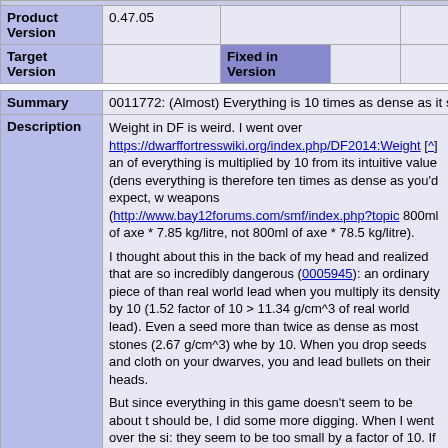| Product Version | 0.47.05 |  |  |
| --- | --- | --- | --- |
| Target Version |  | Fixed in Version |  |
Summary: 0011772: (Almost) Everything is 10 times as dense as it sho
Description: Weight in DF is weird. I went over https://dwarffortresswiki.org/index.php/DF2014:Weight [^] and... I thought about this in the back of my head and realized that... But since everything in this game doesn't seem to be about t...